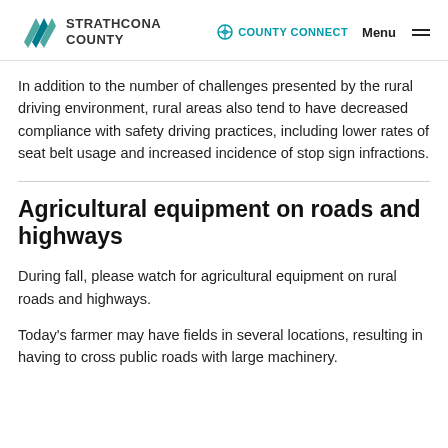STRATHCONA COUNTY | COUNTY CONNECT | Menu
In addition to the number of challenges presented by the rural driving environment, rural areas also tend to have decreased compliance with safety driving practices, including lower rates of seat belt usage and increased incidence of stop sign infractions.
Agricultural equipment on roads and highways
During fall, please watch for agricultural equipment on rural roads and highways.
Today's farmer may have fields in several locations, resulting in having to cross public roads with large machinery.